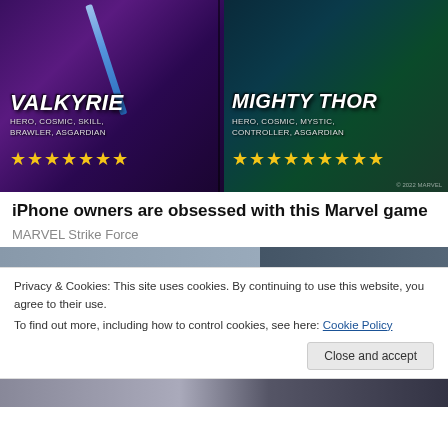[Figure (screenshot): Marvel Strike Force game advertisement showing two characters: Valkyrie (Hero, Cosmic, Skill, Brawler, Asgardian) with 7 stars, and Mighty Thor (Hero, Cosmic, Mystic, Controller, Asgardian) with 9 stars, both with yellow star ratings.]
iPhone owners are obsessed with this Marvel game
MARVEL Strike Force
[Figure (screenshot): Partially visible second Marvel game screenshot]
Privacy & Cookies: This site uses cookies. By continuing to use this website, you agree to their use.
To find out more, including how to control cookies, see here: Cookie Policy
[Figure (screenshot): Bottom partial screenshot of Marvel game]